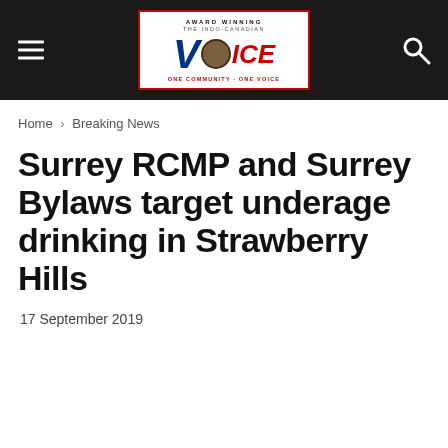THE INDO-CANADIAN VOICE — Award Winning — One Community One Voice
Home › Breaking News
Surrey RCMP and Surrey Bylaws target underage drinking in Strawberry Hills
17 September 2019